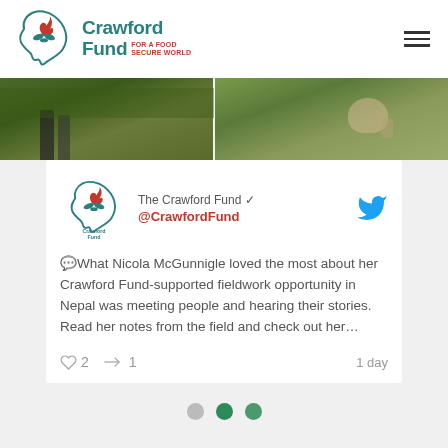Crawford Fund — For a Food Secure World
[Figure (photo): Two cropped photos side by side showing green fieldwork scenes in Nepal — left panel shows person's legs in field, right panel shows animal or person in grass]
[Figure (screenshot): Tweet card from @CrawfordFund (The Crawford Fund verified account). Tweet text: 💬What Nicola McGunnigle loved the most about her Crawford Fund-supported fieldwork opportunity in Nepal was meeting people and hearing their stories. Read her notes from the field and check out her… Likes: 2, Retweets: 1, Time: 1 day]
💬What Nicola McGunnigle loved the most about her Crawford Fund-supported fieldwork opportunity in Nepal was meeting people and hearing their stories. Read her notes from the field and check out her…
[Figure (other): Pagination dots: gray, green, green]